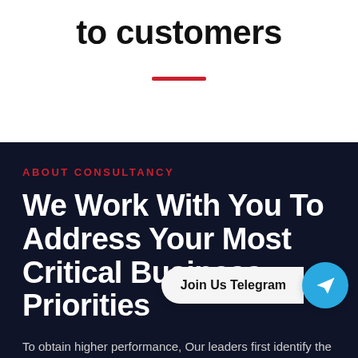to customers
ABOUT CONSULTANCY
We Work With You To Address Your Most Critical Business Priorities
To obtain higher performance, Our leaders first identify the critical obstacles to forward progress and then develop a coherent